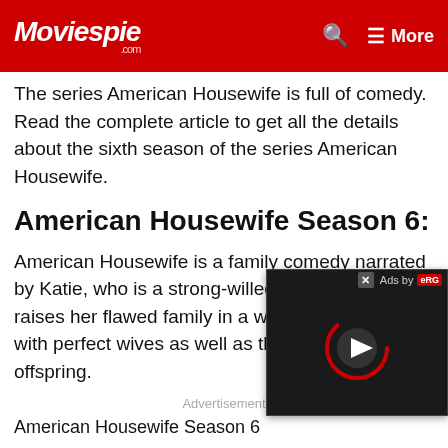Moviespie.com | More
The series American Housewife is full of comedy. Read the complete article to get all the details about the sixth season of the series American Housewife.
American Housewife Season 6:
American Housewife is a family comedy narrated by Katie, who is a strong-willed mother, and she raises her flawed family in a wealthy town filled with perfect wives as well as their perfect offspring.
Advertisement
American Housewife Season 6